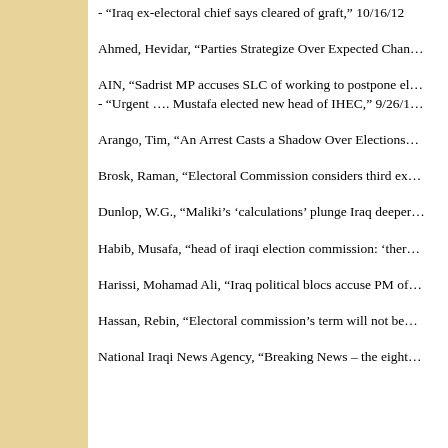- “Iraq ex-electoral chief says cleared of graft,” 10/16/12
Ahmed, Hevidar, “Parties Strategize Over Expected Chan…
AIN, “Sadrist MP accuses SLC of working to postpone el…
- “Urgent …. Mustafa elected new head of IHEC,” 9/26/1…
Arango, Tim, “An Arrest Casts a Shadow Over Elections…
Brosk, Raman, “Electoral Commission considers third ex…
Dunlop, W.G., “Maliki’s ‘calculations’ plunge Iraq deeper…
Habib, Musafa, “head of iraqi election commission: ‘ther…
Harissi, Mohamad Ali, “Iraq political blocs accuse PM of…
Hassan, Rebin, “Electoral commission’s term will not be…
National Iraqi News Agency, “Breaking News – the eight…